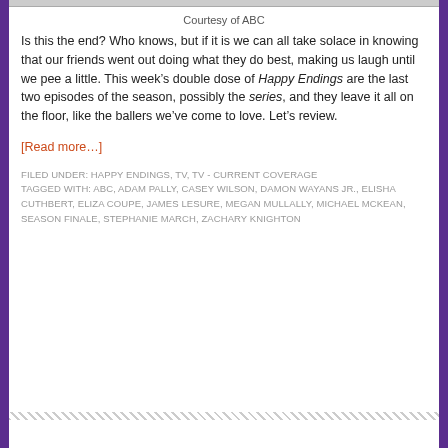Courtesy of ABC
Is this the end? Who knows, but if it is we can all take solace in knowing that our friends went out doing what they do best, making us laugh until we pee a little. This week’s double dose of Happy Endings are the last two episodes of the season, possibly the series, and they leave it all on the floor, like the ballers we’ve come to love. Let’s review.
[Read more…]
FILED UNDER: HAPPY ENDINGS, TV, TV - CURRENT COVERAGE
TAGGED WITH: ABC, ADAM PALLY, CASEY WILSON, DAMON WAYANS JR., ELISHA CUTHBERT, ELIZA COUPE, JAMES LESURE, MEGAN MULLALLY, MICHAEL MCKEAN, SEASON FINALE, STEPHANIE MARCH, ZACHARY KNIGHTON